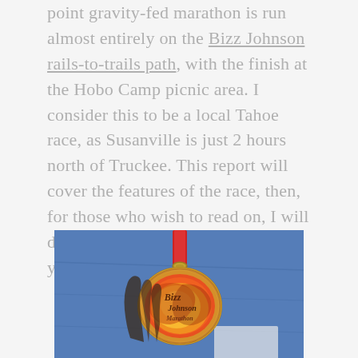point gravity-fed marathon is run almost entirely on the Bizz Johnson rails-to-trails path, with the finish at the Hobo Camp picnic area. I consider this to be a local Tahoe race, as Susanville is just 2 hours north of Truckee. This report will cover the features of the race, then, for those who wish to read on, I will describe my day on the trail yesterday.
[Figure (photo): A marathon finisher medal from the Bizz Johnson Marathon, featuring a colorful oval design with text 'Bizz Johnson Marathon' on a red and orange background, hanging from a red ribbon, held against a blue shirt.]